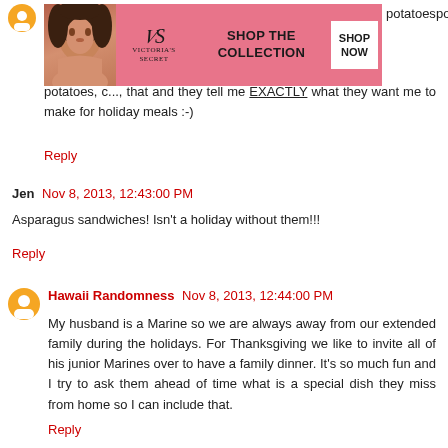[Figure (other): Victoria's Secret advertisement banner with model photo, logo, SHOP THE COLLECTION text, and SHOP NOW button]
potatoes, c... that and they tell me EXACTLY what they want me to make for holiday meals :-)
Reply
Jen  Nov 8, 2013, 12:43:00 PM
Asparagus sandwiches! Isn't a holiday without them!!!
Reply
Hawaii Randomness  Nov 8, 2013, 12:44:00 PM
My husband is a Marine so we are always away from our extended family during the holidays. For Thanksgiving we like to invite all of his junior Marines over to have a family dinner. It's so much fun and I try to ask them ahead of time what is a special dish they miss from home so I can include that.
Reply